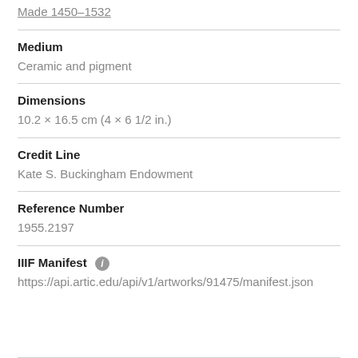Made 1450–1532
Medium
Ceramic and pigment
Dimensions
10.2 × 16.5 cm (4 × 6 1/2 in.)
Credit Line
Kate S. Buckingham Endowment
Reference Number
1955.2197
IIIF Manifest
https://api.artic.edu/api/v1/artworks/91475/manifest.json